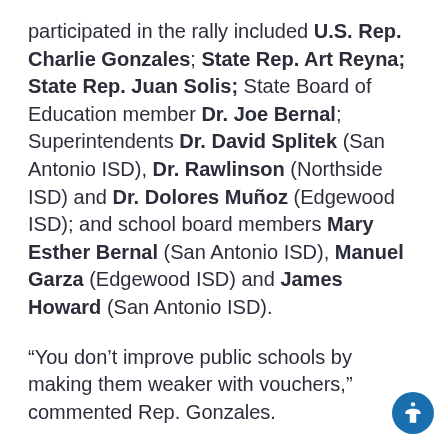participated in the rally included U.S. Rep. Charlie Gonzales; State Rep. Art Reyna; State Rep. Juan Solis; State Board of Education member Dr. Joe Bernal; Superintendents Dr. David Splitek (San Antonio ISD), Dr. Rawlinson (Northside ISD) and Dr. Dolores Muñoz (Edgewood ISD); and school board members Mary Esther Bernal (San Antonio ISD), Manuel Garza (Edgewood ISD) and James Howard (San Antonio ISD).
“You don’t improve public schools by making them weaker with vouchers,” commented Rep. Gonzales.
Senator Gregory Luna was unable to attend the rally, but sent a statement that was rea…